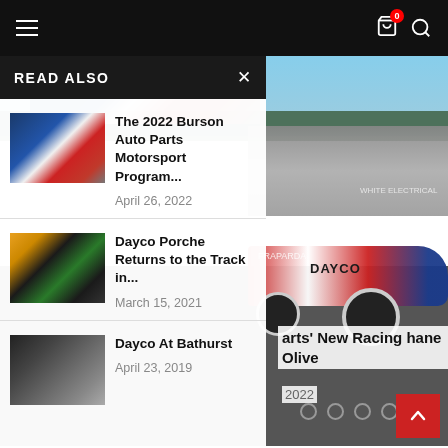Navigation header with hamburger menu, cart icon (0), and search icon
[Figure (photo): Racing car photo background — race car on track with crowd in grandstand, second photo of drag-style race car with DAYCO branding]
READ ALSO
[Figure (photo): Thumbnail of Burson Auto Parts racing car]
The 2022 Burson Auto Parts Motorsport Program...
April 26, 2022
[Figure (photo): Thumbnail of Dayco Porsche racing car]
Dayco Porche Returns to the Track in...
March 15, 2021
[Figure (photo): Thumbnail of Dayco at Bathurst — person with car]
Dayco At Bathurst
April 23, 2019
arts' New Racing
hane Olive
2022